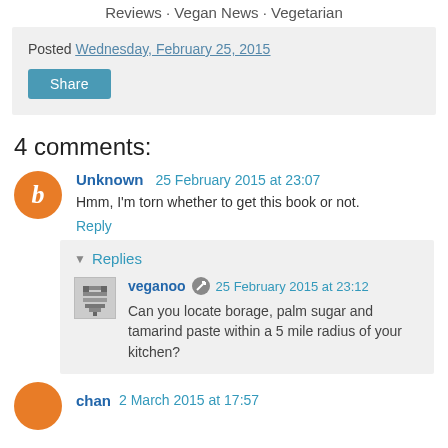Reviews · Vegan News · Vegetarian
Posted Wednesday, February 25, 2015
Share
4 comments:
Unknown  25 February 2015 at 23:07
Hmm, I'm torn whether to get this book or not.
Reply
Replies
veganoo  25 February 2015 at 23:12
Can you locate borage, palm sugar and tamarind paste within a 5 mile radius of your kitchen?
chan  2 March 2015 at 17:57